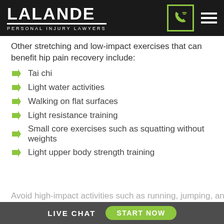LALANDE PERSONAL INJURY LAWYERS
Other stretching and low-impact exercises that can benefit hip pain recovery include:
Tai chi
Light water activities
Walking on flat surfaces
Light resistance training
Small core exercises such as squatting without weights
Light upper body strength training
Avoid high-impact activities such as running, jumping, and
LIVE CHAT   START NOW